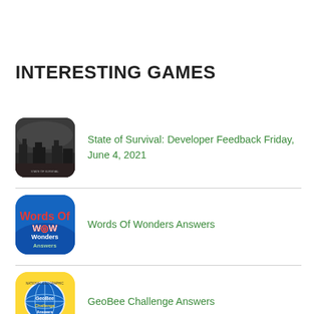INTERESTING GAMES
State of Survival: Developer Feedback Friday, June 4, 2021
Words Of Wonders Answers
GeoBee Challenge Answers